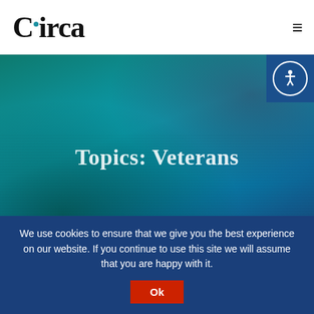Circa
[Figure (photo): Hands typing on a laptop keyboard with a teal/blue-green color overlay, suggesting a technology or digital work context]
Topics: Veterans
We use cookies to ensure that we give you the best experience on our website. If you continue to use this site we will assume that you are happy with it.